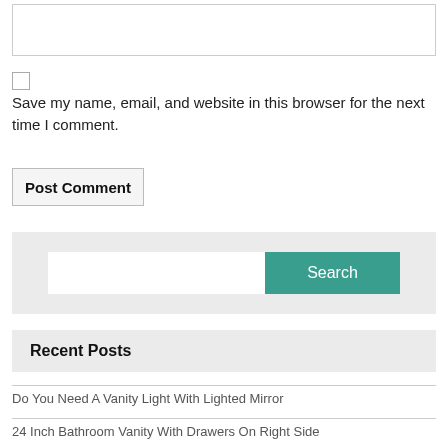[Figure (screenshot): Empty text input box with border]
[Figure (screenshot): Unchecked checkbox]
Save my name, email, and website in this browser for the next time I comment.
[Figure (screenshot): Post Comment button]
[Figure (screenshot): Search widget with text input and teal Search button]
Recent Posts
Do You Need A Vanity Light With Lighted Mirror
24 Inch Bathroom Vanity With Drawers On Right Side